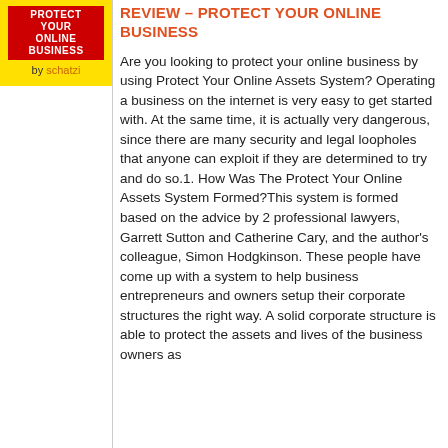by schatzi
REVIEW – PROTECT YOUR ONLINE BUSINESS
Are you looking to protect your online business by using Protect Your Online Assets System? Operating a business on the internet is very easy to get started with. At the same time, it is actually very dangerous, since there are many security and legal loopholes that anyone can exploit if they are determined to try and do so.1. How Was The Protect Your Online Assets System Formed?This system is formed based on the advice by 2 professional lawyers, Garrett Sutton and Catherine Cary, and the author's colleague, Simon Hodgkinson. These people have come up with a system to help business entrepreneurs and owners setup their corporate structures the right way. A solid corporate structure is able to protect the assets and lives of the business owners as